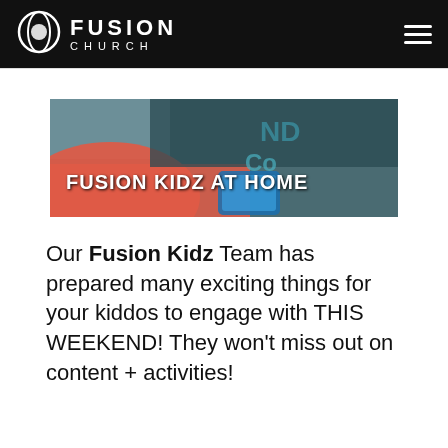Fusion Church
[Figure (photo): Fusion Kidz at Home banner image showing a child with a tablet, with large white text 'FUSION KIDZ AT HOME' overlaid on a red/coral background]
Our Fusion Kidz Team has prepared many exciting things for your kiddos to engage with THIS WEEKEND! They won't miss out on content + activities! CLICK THE LINK BELOW: